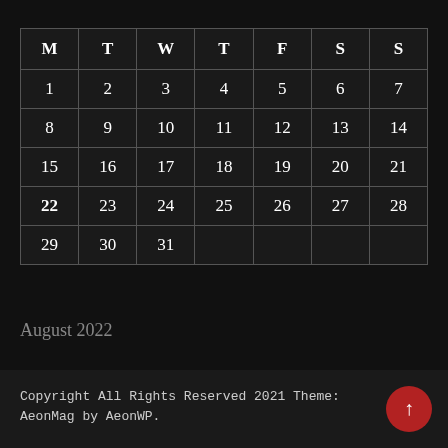| M | T | W | T | F | S | S |
| --- | --- | --- | --- | --- | --- | --- |
| 1 | 2 | 3 | 4 | 5 | 6 | 7 |
| 8 | 9 | 10 | 11 | 12 | 13 | 14 |
| 15 | 16 | 17 | 18 | 19 | 20 | 21 |
| 22 | 23 | 24 | 25 | 26 | 27 | 28 |
| 29 | 30 | 31 |  |  |  |  |
August 2022
« Apr
Copyright All Rights Reserved 2021 Theme: AeonMag by AeonWP.